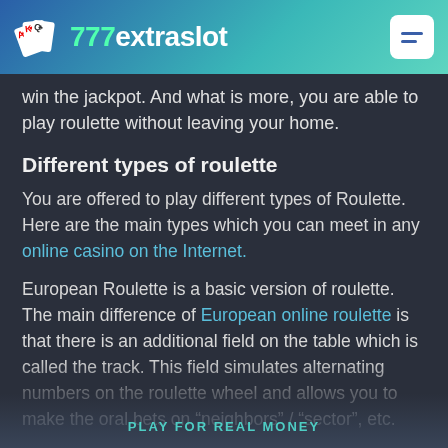777extraslot
win the jackpot. And what is more, you are able to play roulette without leaving your home.
Different types of roulette
You are offered to play different types of Roulette. Here are the main types which you can meet in any online casino on the Internet.
European Roulette is a basic version of roulette. The main difference of European online roulette is that there is an additional field on the table which is called the track. This field simulates alternating numbers on the roulette wheel and allows you to make the oral bets on “neighbors” / “sector”, etc.
French Roulette. It differs from the European variant by the appearance of its field. And there is a special rule – the “rule of prison”. If the player sets the stake at the chance,